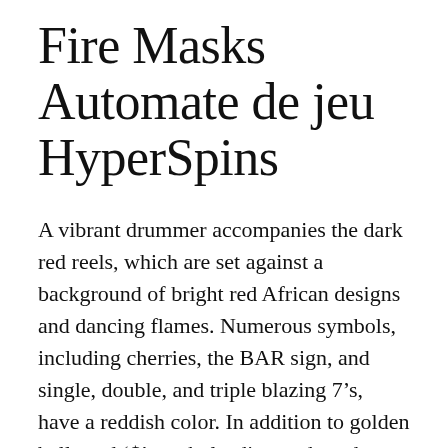Fire Masks Automate de jeu HyperSpins
A vibrant drummer accompanies the dark red reels, which are set against a background of bright red African designs and dancing flames. Numerous symbols, including cherries, the BAR sign, and single, double, and triple blazing 7’s, have a reddish color. In addition to golden bells and ‘$’ symbols, diamonds and precious gold masks offer a dash of color to the displays of your PC, iOS, Android, or Windows mobile device.
It is a 5-reel, 20-line game that can be played for anywhere from $0.20 to $60.00 a spin at our top-